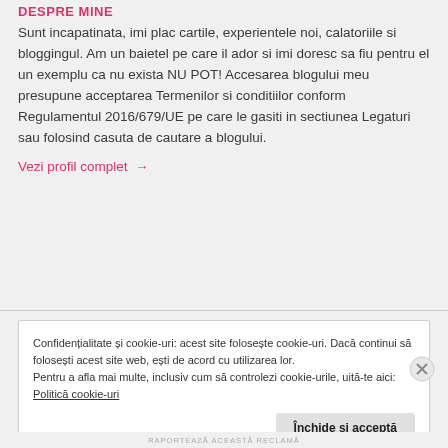DESPRE MINE
Sunt incapatinata, imi plac cartile, experientele noi, calatoriile si bloggingul. Am un baietel pe care il ador si imi doresc sa fiu pentru el un exemplu ca nu exista NU POT! Accesarea blogului meu presupune acceptarea Termenilor si conditiilor conform Regulamentul 2016/679/UE pe care le gasiti in sectiunea Legaturi sau folosind casuta de cautare a blogului.
Vezi profil complet →
Confidențialitate și cookie-uri: acest site folosește cookie-uri. Dacă continui să folosești acest site web, ești de acord cu utilizarea lor.
Pentru a afla mai multe, inclusiv cum să controlezi cookie-urile, uită-te aici:
Politică cookie-uri
Închide și acceptă
RAPORTEAZĂ ACEASTĂ RECLAMĂ